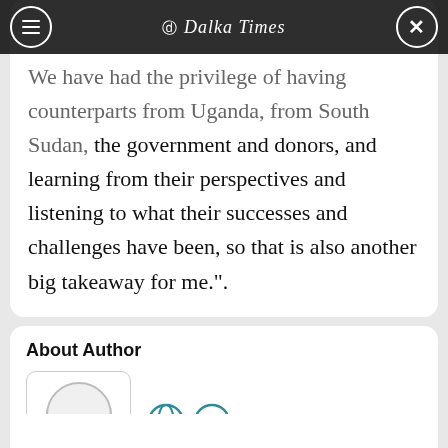Dalka Times
We have had the privilege of having counterparts from Uganda, from South Sudan, the government and donors, and learning from their perspectives and listening to what their successes and challenges have been, so that is also another big takeaway for me.".
About Author
[Figure (illustration): Author profile card with circular avatar placeholder, name 'Abdi Malik', and globe/email social icons]
Abdi Malik